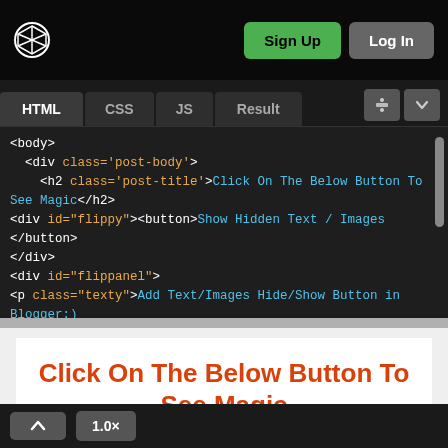[Figure (screenshot): CodePen-style online code editor interface showing HTML tab selected with code snippet visible, and a result preview pane below showing a heading and button]
<body>
  <div class='post-body'>
    <h2 class='post-title'>Click On The Below Button To See Magic</h2>
<div id="flippy"><button>Show Hidden Text / Images </button>
</div>
<div id="flippanel">
<p class="texty">Add Text/Images Hide/Show Button in Blogger:)
</p>
Click On The Below Button To See Magic
Show Hidden Text / Images